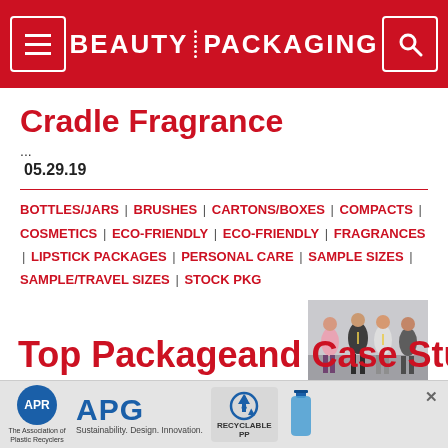BEAUTY PACKAGING
Cradle Fragrance
...
05.29.19
BOTTLES/JARS | BRUSHES | CARTONS/BOXES | COMPACTS | COSMETICS | ECO-FRIENDLY | ECO-FRIENDLY | FRAGRANCES | LIPSTICK PACKAGES | PERSONAL CARE | SAMPLE SIZES | SAMPLE/TRAVEL SIZES | STOCK PKG
[Figure (photo): Group of people walking at a trade show or event]
Top Packagingand Case Stu...